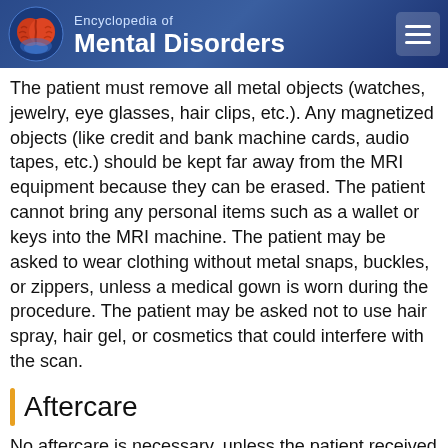Encyclopedia of Mental Disorders
The patient must remove all metal objects (watches, jewelry, eye glasses, hair clips, etc.). Any magnetized objects (like credit and bank machine cards, audio tapes, etc.) should be kept far away from the MRI equipment because they can be erased. The patient cannot bring any personal items such as a wallet or keys into the MRI machine. The patient may be asked to wear clothing without metal snaps, buckles, or zippers, unless a medical gown is worn during the procedure. The patient may be asked not to use hair spray, hair gel, or cosmetics that could interfere with the scan.
Aftercare
No aftercare is necessary, unless the patient received medication or had a reaction to a contrast agent. Normally, patients can immediately return to their daily activities. If the exam reveals a serious condition that requires more testing or treatment, appropriate information and counseling will be